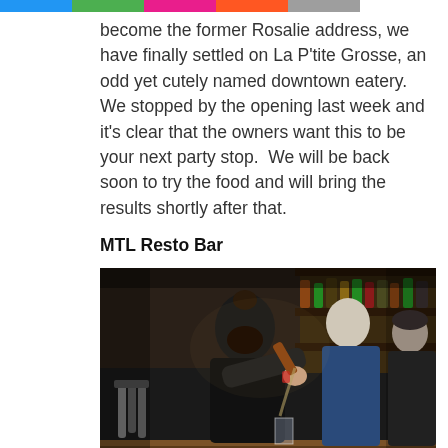[colored bar navigation header]
become the former Rosalie address, we have finally settled on La P'tite Grosse, an odd yet cutely named downtown eatery. We stopped by the opening last week and it's clear that the owners want this to be your next party stop.  We will be back soon to try the food and will bring the results shortly after that.
MTL Resto Bar
[Figure (photo): Photo of bartenders at work behind a bar. The central figure is a bearded man with a bun pouring a drink, leaning forward toward the camera. Behind him is a man in a blue shirt and another person on the right. Bottles and tap handles are visible in the background.]